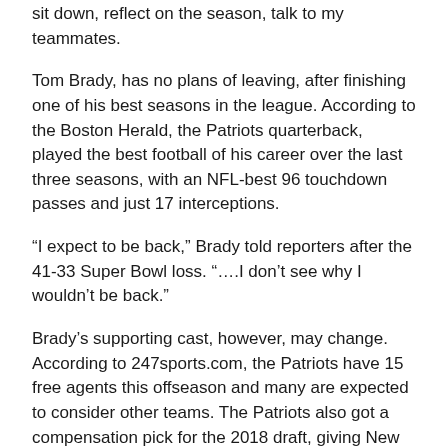sit down, reflect on the season, talk to my teammates.
Tom Brady, has no plans of leaving, after finishing one of his best seasons in the league. According to the Boston Herald, the Patriots quarterback, played the best football of his career over the last three seasons, with an NFL-best 96 touchdown passes and just 17 interceptions.
“I expect to be back,” Brady told reporters after the 41-33 Super Bowl loss. “….I don’t see why I wouldn’t be back.”
Brady’s supporting cast, however, may change. According to 247sports.com, the Patriots have 15 free agents this offseason and many are expected to consider other teams. The Patriots also got a compensation pick for the 2018 draft, giving New England an extra fourth round pick putting them in position to add multiple corners as predicted by Sports Illustrated.